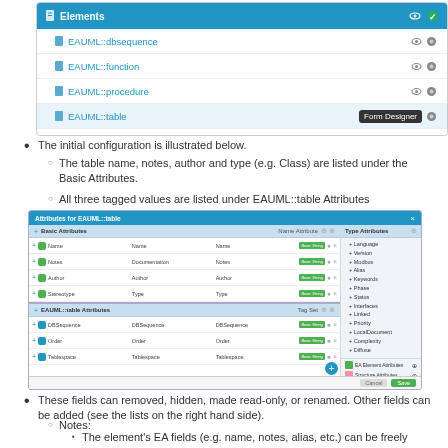[Figure (screenshot): Elements panel showing EAUML::dbsequence, EAUML::function, EAUML::procedure, EAUML::table (with Form Designer tooltip), EAUML::view items with eye and gear icons]
The initial configuration is illustrated below.
The table name, notes, author and type (e.g. Class) are listed under the Basic Attributes.
All three tagged values are listed under EAUML::table Attributes
[Figure (screenshot): Attributes for EAUML::table dialog showing Basic Attributes section with Name, Notes, Author, Stereotype rows and EAUML::table Attributes section with DBSequence, Order, Tablespace rows. Right panel shows attribute type list. Bottom has cancel/save buttons.]
These fields can removed, hidden, made read-only, or renamed. Other fields can be added (see the lists on the right hand side).
Notes:
The element's EA fields (e.g. name, notes, alias, etc.) can be freely mixed with tagged values, within any group.
The order can be updated as needed.